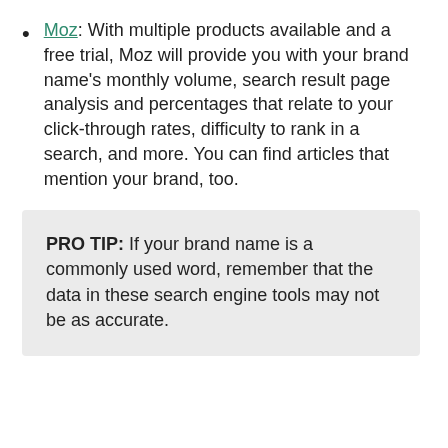Moz: With multiple products available and a free trial, Moz will provide you with your brand name's monthly volume, search result page analysis and percentages that relate to your click-through rates, difficulty to rank in a search, and more. You can find articles that mention your brand, too.
PRO TIP: If your brand name is a commonly used word, remember that the data in these search engine tools may not be as accurate.